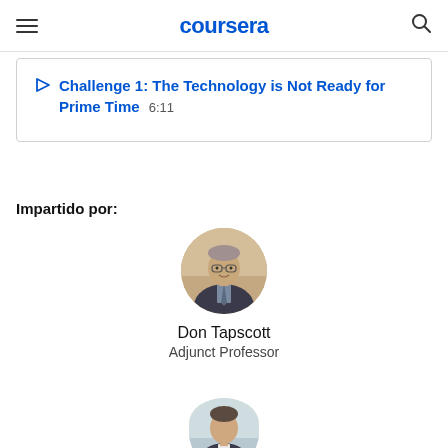coursera
Challenge 1: The Technology is Not Ready for Prime Time  6:11
Impartido por:
[Figure (photo): Circular profile photo of Don Tapscott, a man in a suit with glasses]
Don Tapscott
Adjunct Professor
[Figure (photo): Partially visible circular profile photo of a second instructor at the bottom of the page]